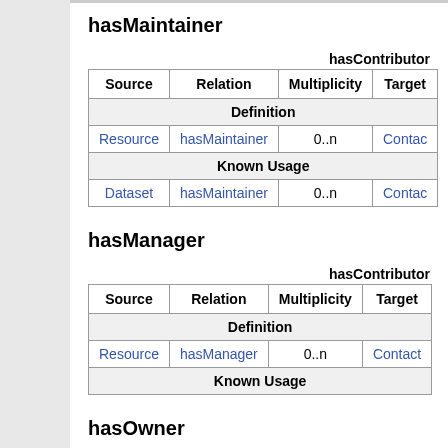hasMaintainer
hasContributor
| Source | Relation | Multiplicity | Target |
| --- | --- | --- | --- |
| Definition |  |  |  |
| Resource | hasMaintainer | 0..n | Contac… |
| Known Usage |  |  |  |
| Dataset | hasMaintainer | 0..n | Contac… |
hasManager
hasContributor
| Source | Relation | Multiplicity | Target |
| --- | --- | --- | --- |
| Definition |  |  |  |
| Resource | hasManager | 0..n | Contact |
| Known Usage |  |  |  |
hasOwner